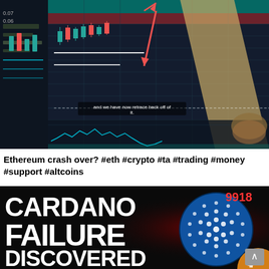[Figure (screenshot): Screenshot of a cryptocurrency trading chart showing candlestick price action with red downward arrow indicating price drop, with annotation text 'and we have now retrace back off of it', and a finger/pencil pointing at the chart. Background shows dark blue/teal trading interface.]
Ethereum crash over? #eth #crypto #ta #trading #money #support #altcoins
[Figure (photo): Thumbnail image with bold white text on dark background reading 'CARDANO FAILURE DISCOVERED' with Cardano (ADA) coin logo and Bitcoin logo, and number 9918 in red on upper right.]